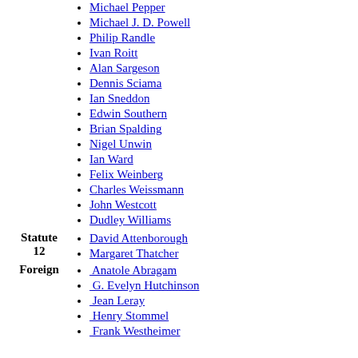Michael Pepper
Michael J. D. Powell
Philip Randle
Ivan Roitt
Alan Sargeson
Dennis Sciama
Ian Sneddon
Edwin Southern
Brian Spalding
Nigel Unwin
Ian Ward
Felix Weinberg
Charles Weissmann
John Westcott
Dudley Williams
Statute 12
David Attenborough
Margaret Thatcher
Foreign
Anatole Abragam
G. Evelyn Hutchinson
Jean Leray
Henry Stommel
Frank Westheimer